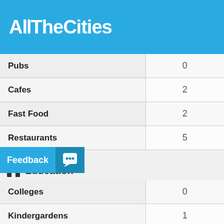AllTheCities
| Category | Count |
| --- | --- |
| Pubs | 0 |
| Cafes | 2 |
| Fast Food | 2 |
| Restaurants | 5 |
Education
| Category | Count |
| --- | --- |
| Colleges | 0 |
| Kindergardens | 1 |
| Libraries | 0 |
| Schools | 2 |
| Universities | 0 |
Trasportation